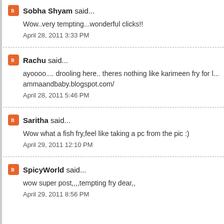Sobha Shyam said...
Wow..very tempting...wonderful clicks!!
April 28, 2011 3:33 PM
Rachu said...
ayoooo.... drooling here.. theres nothing like karimeen fry for l... ammaandbaby.blogspot.com/
April 28, 2011 5:46 PM
Saritha said...
Wow what a fish fry,feel like taking a pc from the pic :)
April 29, 2011 12:10 PM
SpicyWorld said...
wow super post,,,,tempting fry dear,,
April 29, 2011 8:56 PM